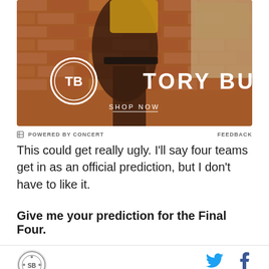[Figure (photo): Tory Burch advertisement showing a fashion model wearing brown and yellow clothing against a brick wall background, with Tory Burch logo and 'SHOP NOW' text]
POWERED BY CONCERT   FEEDBACK
This could get really ugly. I'll say four teams get in as an official prediction, but I don't have to like it.
Give me your prediction for the Final Four.
[Figure (logo): Site circular logo at bottom left]
[Figure (other): Twitter and Facebook social icons at bottom right]